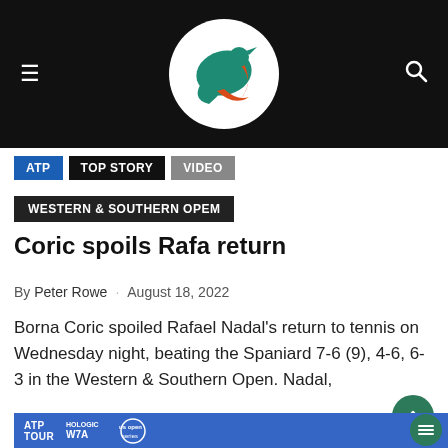[Figure (logo): Sports news website logo: a stylized tennis player/bird in teal and orange on a white circle, set against a black header bar with hamburger menu (left) and search icon (right).]
ATP
TOP STORY
VIDEO
WESTERN & SOUTHERN OPEM
Coric spoils Rafa return
By Peter Rowe · August 18, 2022
Borna Coric spoiled Rafael Nadal's return to tennis on Wednesday night, beating the Spaniard 7-6 (9), 4-6, 6-3 in the Western & Southern Open. Nadal,
[Figure (photo): Partial photo showing ATP Tour, Hologic WTA, and US Open Series logos/banners with a person visible at bottom, set against a blue background.]